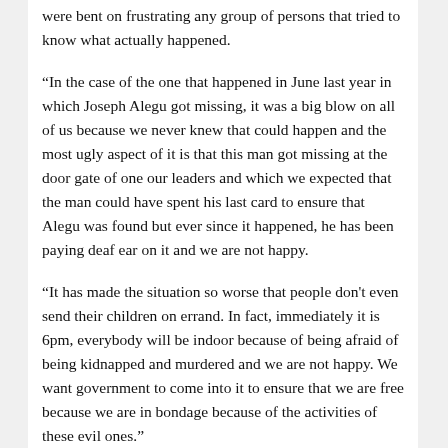were bent on frustrating any group of persons that tried to know what actually happened.
“In the case of the one that happened in June last year in which Joseph Alegu got missing, it was a big blow on all of us because we never knew that could happen and the most ugly aspect of it is that this man got missing at the door gate of one our leaders and which we expected that the man could have spent his last card to ensure that Alegu was found but ever since it happened, he has been paying deaf ear on it and we are not happy.
“It has made the situation so worse that people don't even send their children on errand. In fact, immediately it is 6pm, everybody will be indoor because of being afraid of being kidnapped and murdered and we are not happy. We want government to come into it to ensure that we are free because we are in bondage because of the activities of these evil ones.”
In his reaction, Chief Celestine Okah challenged  those who are insinuating that he is behind cultism and ritual